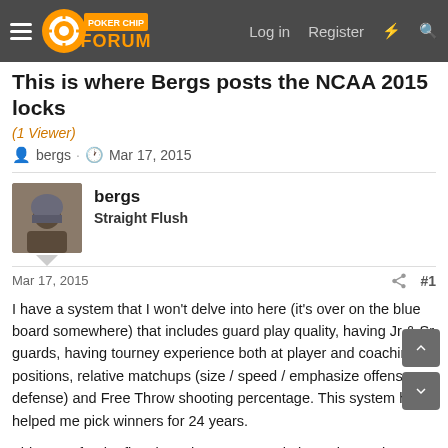Poker Chip Forum — Log in  Register
This is where Bergs posts the NCAA 2015 locks
(1 Viewer)
bergs · Mar 17, 2015
bergs
Straight Flush
Mar 17, 2015  #1
I have a system that I won't delve into here (it's over on the blue board somewhere) that includes guard play quality, having Jr & Sr guards, having tourney experience both at player and coaching positions, relative matchups (size / speed / emphasize offense vs defense) and Free Throw shooting percentage. This system has helped me pick winners for 24 years.

This year, for the first time, there are NO obvious plays using my system. I struggled mightily with this and ended up with a